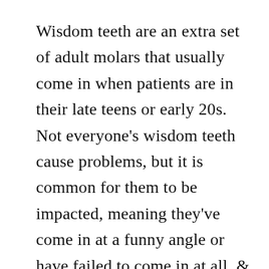Wisdom teeth are an extra set of adult molars that usually come in when patients are in their late teens or early 20s. Not everyone's wisdom teeth cause problems, but it is common for them to be impacted, meaning they've come in at a funny angle or have failed to come in at all, & trapped under the gum pressing against other teeth. In some cases, wisdom teeth can become infected or cause abscesses, pain or swelling. Wisdom teeth removal is